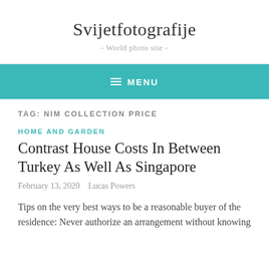Svijetfotografije
- World photo site -
≡ MENU
TAG: NIM COLLECTION PRICE
HOME AND GARDEN
Contrast House Costs In Between Turkey As Well As Singapore
February 13, 2020   Lucas Powers
Tips on the very best ways to be a reasonable buyer of the residence: Never authorize an arrangement without knowing